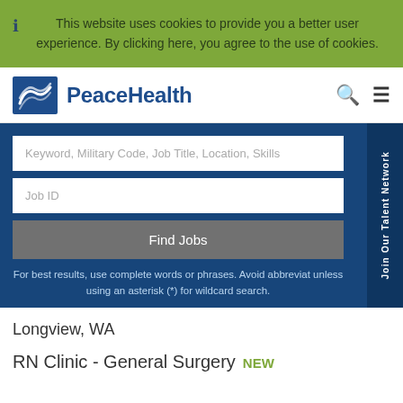This website uses cookies to provide you a better user experience. By clicking here, you agree to the use of cookies.
[Figure (logo): PeaceHealth logo with wave icon in blue square and PeaceHealth text]
Keyword, Military Code, Job Title, Location, Skills
Job ID
Find Jobs
For best results, use complete words or phrases. Avoid abbreviat unless using an asterisk (*) for wildcard search.
Join Our Talent Network
Longview, WA
RN Clinic - General Surgery NEW